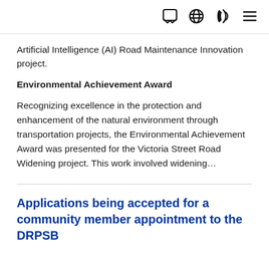[chat icon] [globe icon] [phone icon] [menu icon]
Artificial Intelligence (AI) Road Maintenance Innovation project.
Environmental Achievement Award
Recognizing excellence in the protection and enhancement of the natural environment through transportation projects, the Environmental Achievement Award was presented for the Victoria Street Road Widening project. This work involved widening...
Applications being accepted for a community member appointment to the DRPSB